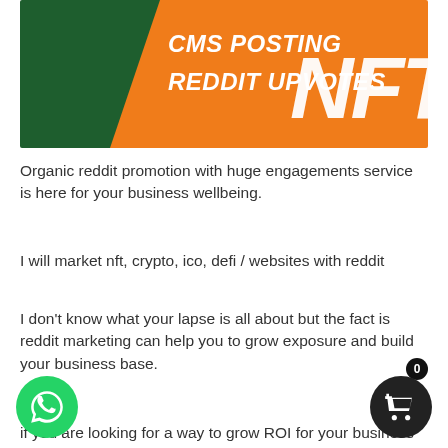[Figure (infographic): Orange and dark green banner with white italic bold text reading 'CMS POSTING REDDIT UPVOTES' on the left and large 'NFT' text on the right]
Organic reddit promotion with huge engagements service is here for your business wellbeing.
I will market nft, crypto, ico, defi / websites with reddit
I don't know what your lapse is all about but the fact is reddit marketing can help you to grow exposure and build your business base.
if you are looking for a way to grow ROI for your business this is the perfect chance to.
If You Are looking for one time reddit promotion